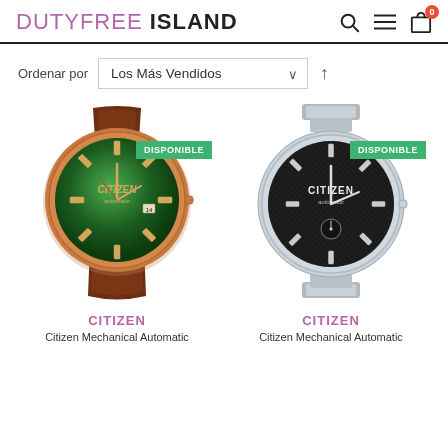DUTYFREE ISLAND
Ordenar por  Los Más Vendidos ↑
[Figure (photo): Citizen mechanical automatic watch with green sunburst dial, rose gold case, brown leather strap. DISPONIBLE badge shown.]
[Figure (photo): Citizen mechanical automatic watch with black textured dial, silver stainless steel bracelet. DISPONIBLE badge shown.]
CITIZEN
Citizen Mechanical Automatic
CITIZEN
Citizen Mechanical Automatic